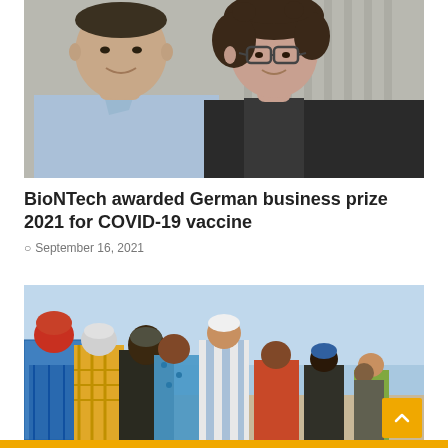[Figure (photo): A man in a light blue shirt and a woman with curly hair wearing glasses and a dark blazer, smiling, photographed indoors with curtains in the background (BioNTech founders Ugur Sahin and Ozlem Tureci).]
BioNTech awarded German business prize 2021 for COVID-19 vaccine
September 16, 2021
[Figure (photo): A group of people seen from behind, standing outdoors under a blue sky. The people are wearing colorful traditional clothing and appear to be gathered in a queue or crowd in an open landscape.]